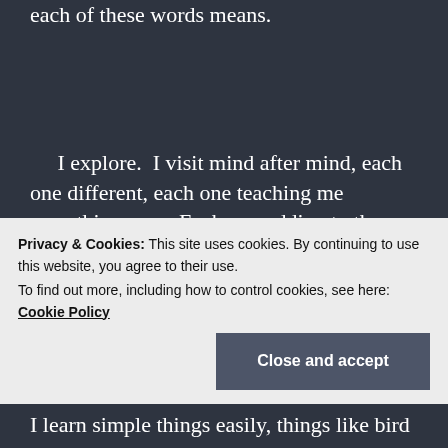each of these words means.
I explore. I visit mind after mind, each one different, each one teaching me something new. Each one adding to the words I understand, the human concepts I gather. I learn the word “human” quickly, delight in having a label for this species I am coming to know. I learn “humain,” “maanav,” and
Privacy & Cookies: This site uses cookies. By continuing to use this website, you agree to their use.
To find out more, including how to control cookies, see here: Cookie Policy
Close and accept
I learn simple things easily, things like bird and